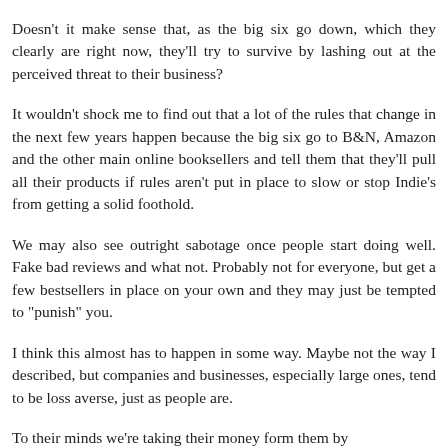Doesn't it make sense that, as the big six go down, which they clearly are right now, they'll try to survive by lashing out at the perceived threat to their business?
It wouldn't shock me to find out that a lot of the rules that change in the next few years happen because the big six go to B&N, Amazon and the other main online booksellers and tell them that they'll pull all their products if rules aren't put in place to slow or stop Indie's from getting a solid foothold.
We may also see outright sabotage once people start doing well. Fake bad reviews and what not. Probably not for everyone, but get a few bestsellers in place on your own and they may just be tempted to "punish" you.
I think this almost has to happen in some way. Maybe not the way I described, but companies and businesses, especially large ones, tend to be loss averse, just as people are.
To their minds we're taking their money form them by